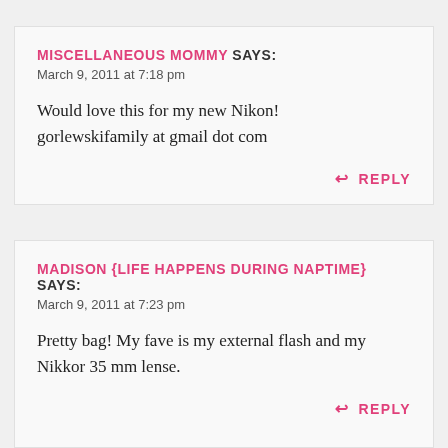MISCELLANEOUS MOMMY SAYS:
March 9, 2011 at 7:18 pm

Would love this for my new Nikon! gorlewskifamily at gmail dot com

↩ REPLY
MADISON {LIFE HAPPENS DURING NAPTIME} SAYS:
March 9, 2011 at 7:23 pm

Pretty bag! My fave is my external flash and my Nikkor 35 mm lense.

↩ REPLY